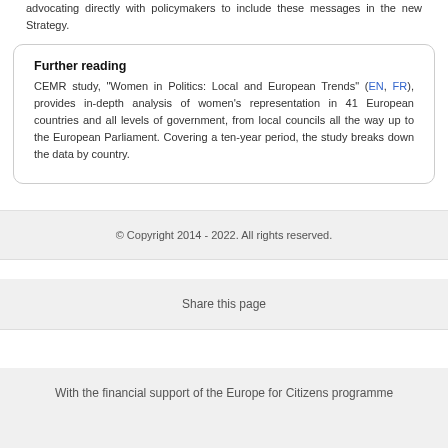advocating directly with policymakers to include these messages in the new Strategy.
Further reading
CEMR study, "Women in Politics: Local and European Trends" (EN, FR), provides in-depth analysis of women's representation in 41 European countries and all levels of government, from local councils all the way up to the European Parliament. Covering a ten-year period, the study breaks down the data by country.
© Copyright 2014 - 2022. All rights reserved.
Share this page
With the financial support of the Europe for Citizens programme